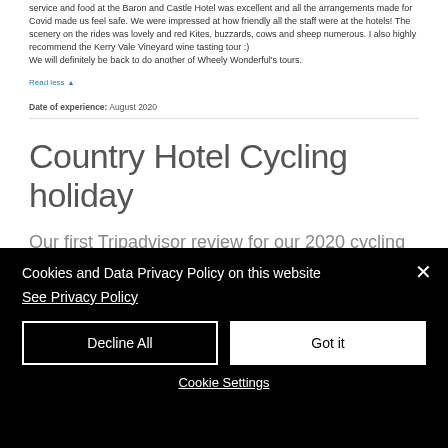service and food at the Baron and Castle Hotel was excellent and all the arrangements made for Covid made us feel safe. We were impressed at how friendly all the staff were at the hotels! The scenery on the rides was lovely and red Kites, buzzards, cows and sheep numerous. I also highly recommend the Kerry Vale Vineyard wine tasting tour :) We will definitely be back to do another of Wheely Wonderful's tours.
Read less ▲
Date of experience: August 2020
Country Hotel Cycling holiday
Our first Tripadvisor review for our 2020 cycling holidays. Its great to be back, welcoming cycling holiday cust...
Cookies and Data Privacy Policy on this website
See Privacy Policy
Decline All
Got it
Cookie Settings